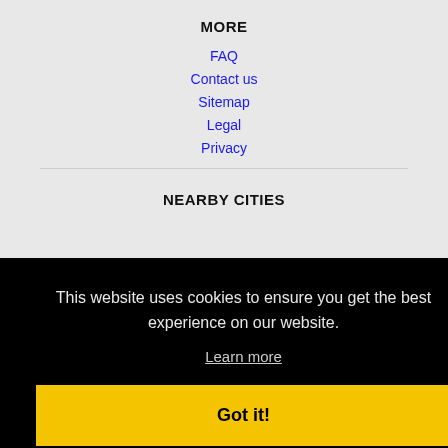MORE
FAQ
Contact us
Sitemap
Legal
Privacy
NEARBY CITIES
This website uses cookies to ensure you get the best experience on our website.
Learn more
Got it!
Provo, UT Jobs